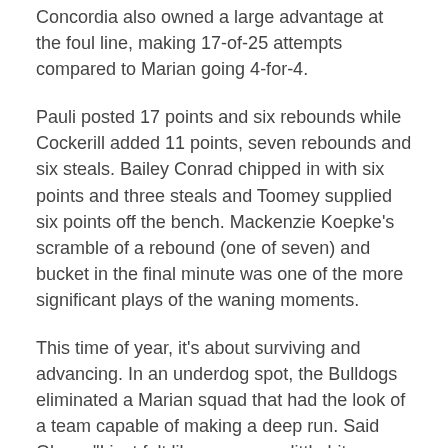Concordia also owned a large advantage at the foul line, making 17-of-25 attempts compared to Marian going 4-for-4.
Pauli posted 17 points and six rebounds while Cockerill added 11 points, seven rebounds and six steals. Bailey Conrad chipped in with six points and three steals and Toomey supplied six points off the bench. Mackenzie Koepke's scramble of a rebound (one of seven) and bucket in the final minute was one of the more significant plays of the waning moments.
This time of year, it's about surviving and advancing. In an underdog spot, the Bulldogs eliminated a Marian squad that had the look of a team capable of making a deep run. Said Olson, "I just felt like we were a little bit more locked in. The idea of picking up full court really bothered them."